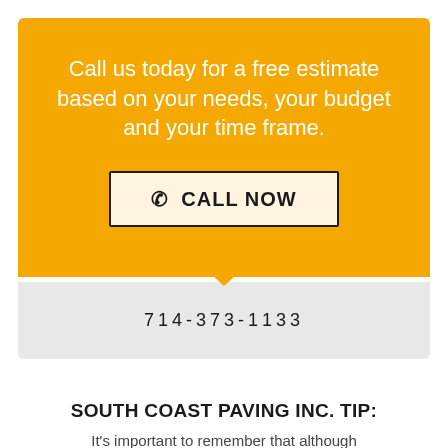Call us today for a free estimate based on your needs, your budget and your time frame.
CALL NOW
714-373-1133
SOUTH COAST PAVING INC. TIP:
It's important to remember that although